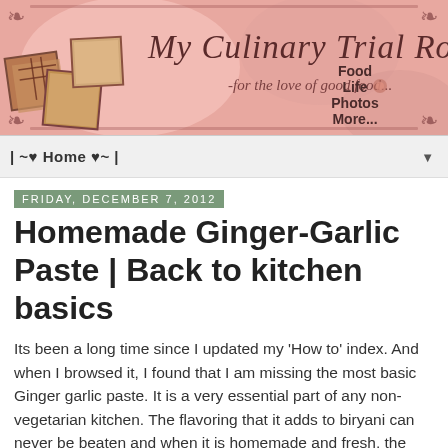[Figure (illustration): Blog header banner with pink textured background, cursive title 'My Culinary Trial Room', subtitle 'for the love of good food...', text 'Food Life Photos More...' on right, decorative corner swirls, and food photo thumbnails on left]
| ~♥ Home ♥~ |
Friday, December 7, 2012
Homemade Ginger-Garlic Paste | Back to kitchen basics
Its been a long time since I updated my 'How to' index. And when I browsed it, I found that I am missing the most basic Ginger garlic paste. It is a very essential part of any non-vegetarian kitchen. The flavoring that it adds to biryani can never be beaten and when it is homemade and fresh, the final dish is spot on with loads of flavors. How many of you buy ginger-garlic paste from the stores??? I am not one of them. I make it at home and store this in an air-tight